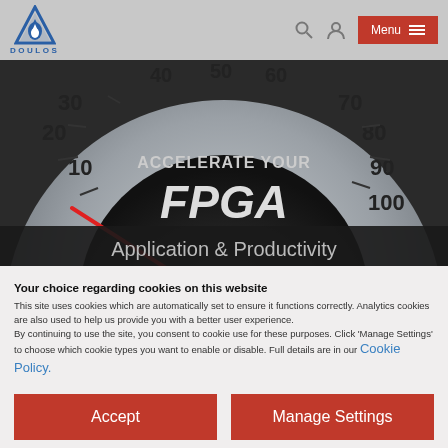[Figure (logo): Doulos logo: blue triangle with water drop, text DOULOS below]
[Figure (screenshot): Speedometer gauge image with text ACCELERATE YOUR FPGA Application & Productivity]
Your choice regarding cookies on this website
This site uses cookies which are automatically set to ensure it functions correctly. Analytics cookies are also used to help us provide you with a better user experience.
By continuing to use the site, you consent to cookie use for these purposes. Click 'Manage Settings' to choose which cookie types you want to enable or disable. Full details are in our Cookie Policy.
Accept
Manage Settings